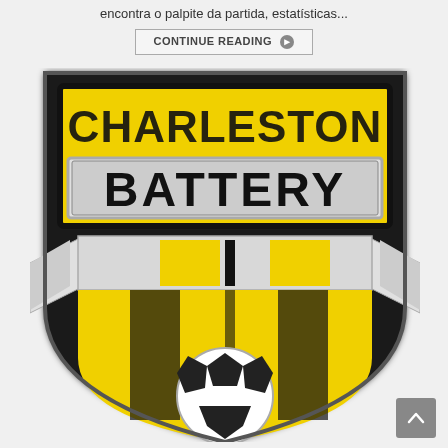encontra o palpite da partida, estatísticas...
CONTINUE READING ❯
[Figure (logo): Charleston Battery soccer team logo — black and yellow shield with the word BATTERY in bold, a soccer ball at the bottom, and ribbon banners across the shield.]